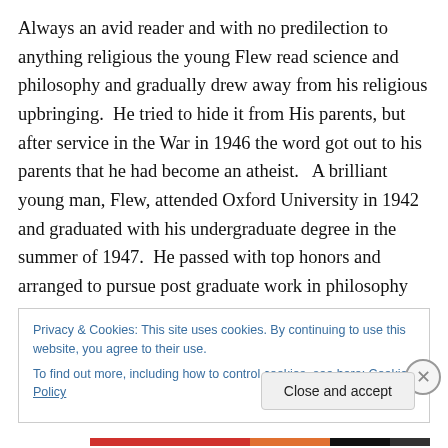Always an avid reader and with no predilection to anything religious the young Flew read science and philosophy and gradually drew away from his religious upbringing.  He tried to hide it from His parents, but after service in the War in 1946 the word got out to his parents that he had become an atheist.   A brilliant young man, Flew, attended Oxford University in 1942 and graduated with his undergraduate degree in the summer of 1947.  He passed with top honors and arranged to pursue post graduate work in philosophy and metaphysical philosophy.  During his time at Oxford Flew joined the Socratic Club at Oxford
Privacy & Cookies: This site uses cookies. By continuing to use this website, you agree to their use.
To find out more, including how to control cookies, see here: Cookie Policy